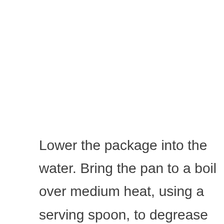Lower the package into the water. Bring the pan to a boil over medium heat, using a serving spoon, to degrease any foam that may rise to the surface of the water. Reduce heat to a minimum. Simmer the pan for 2 to 3 hours or until the belly is tender.